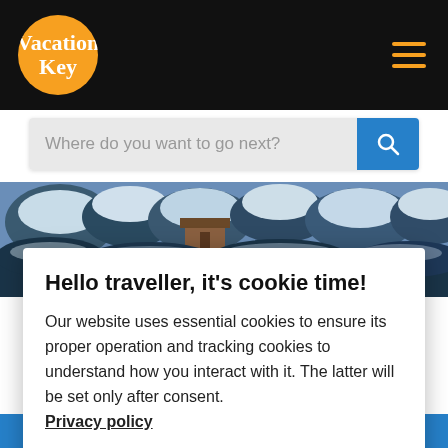VacationKey
[Figure (screenshot): Search bar with placeholder text 'Where do you want to go next?' and blue search button]
[Figure (photo): Winter landscape photo showing snow-covered trees and a cabin/building in the background]
Hello traveller, it's cookie time!
Our website uses essential cookies to ensure its proper operation and tracking cookies to understand how you interact with it. The latter will be set only after consent. Privacy policy
Accept all
Preferences